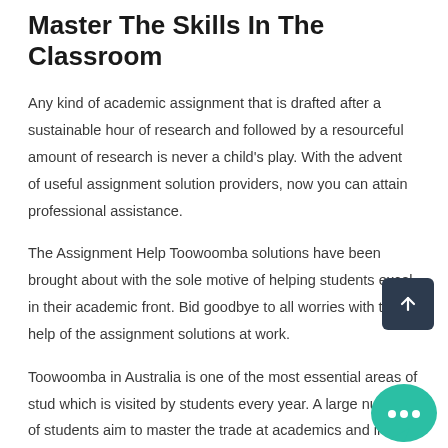Master The Skills In The Classroom
Any kind of academic assignment that is drafted after a sustainable hour of research and followed by a resourceful amount of research is never a child's play. With the advent of useful assignment solution providers, now you can attain professional assistance.
The Assignment Help Toowoomba solutions have been brought about with the sole motive of helping students excel in their academic front. Bid goodbye to all worries with the help of the assignment solutions at work.
Toowoomba in Australia is one of the most essential areas of stud which is visited by students every year. A large number of students aim to master the trade at academics and intend to produce the best quality assignments. However, it is quite a tedious job that